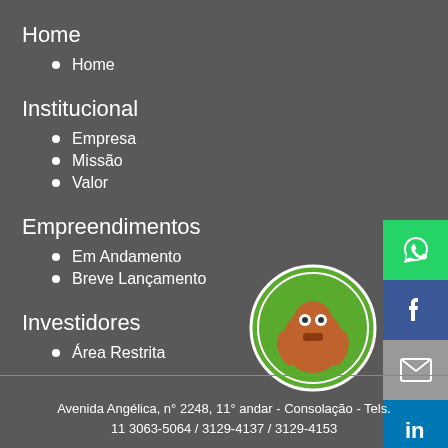Home
Home
Institucional
Empresa
Missão
Valor
Empreendimentos
Em Andamento
Breve Lançamento
Investidores
Área Restrita
[Figure (logo): Social media sharing buttons: WhatsApp (green), Facebook (blue), email (grey), LinkedIn (blue)]
[Figure (logo): Circular logo with green background showing a cartoon robot/character]
Avenida Angélica, n° 2248, 11° andar - Consolação - Tels. 11 3063-5064 / 3129-4137 / 3129-4153